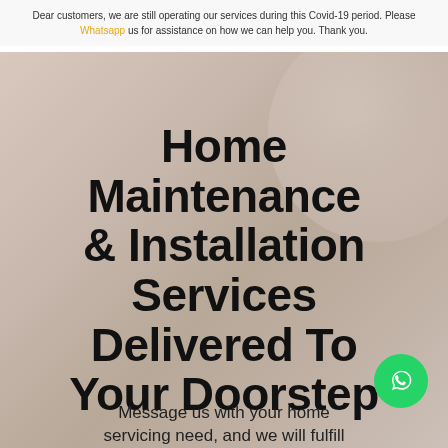Dear customers, we are still operating our services during this Covid-19 period. Please Whatsapp us for assistance on how we can help you. Thank you.
Home Maintenance & Installation Services Delivered To Your Doorstep
[Figure (photo): Background photo of a light wood or neutral-toned surface with a circular decorative element, serving as hero image backdrop]
Message us with your home servicing need, and we will fulfill